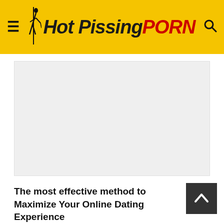Hot Pissing PORN
[Figure (photo): Large light gray image placeholder rectangle]
The most effective method to Maximize Your Online Dating Experience